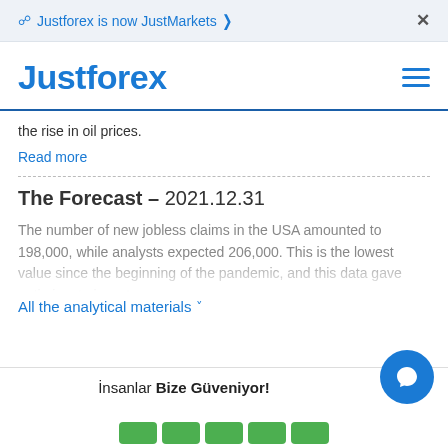Justforex is now JustMarkets ›  ×
Justforex
the rise in oil prices.
Read more
The Forecast – 2021.12.31
The number of new jobless claims in the USA amounted to 198,000, while analysts expected 206,000. This is the lowest value since the beginning of the pandemic, and this data gave optimism to investors.
All the analytical materials ›
İnsanlar Bize Güveniyor!